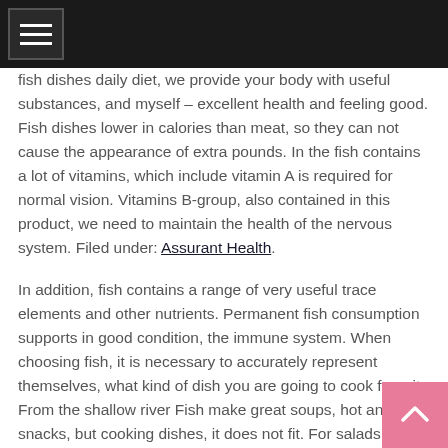[navigation bar with menu icon]
fish dishes daily diet, we provide your body with useful substances, and myself – excellent health and feeling good. Fish dishes lower in calories than meat, so they can not cause the appearance of extra pounds. In the fish contains a lot of vitamins, which include vitamin A is required for normal vision. Vitamins B-group, also contained in this product, we need to maintain the health of the nervous system. Filed under: Assurant Health.
In addition, fish contains a range of very useful trace elements and other nutrients. Permanent fish consumption supports in good condition, the immune system. When choosing fish, it is necessary to accurately represent themselves, what kind of dish you are going to cook from it. From the shallow river Fish make great soups, hot and cold snacks, but cooking dishes, it does not fit. For salads, snacks and other delicacies need a